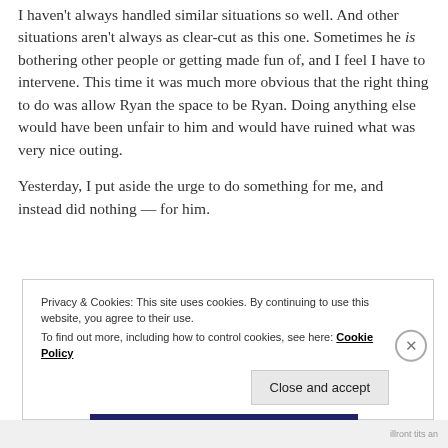I haven't always handled similar situations so well. And other situations aren't always as clear-cut as this one. Sometimes he is bothering other people or getting made fun of, and I feel I have to intervene. This time it was much more obvious that the right thing to do was allow Ryan the space to be Ryan. Doing anything else would have been unfair to him and would have ruined what was very nice outing.
Yesterday, I put aside the urge to do something for me, and instead did nothing — for him.
Privacy & Cookies: This site uses cookies. By continuing to use this website, you agree to their use. To find out more, including how to control cookies, see here: Cookie Policy
Close and accept
illront tits an